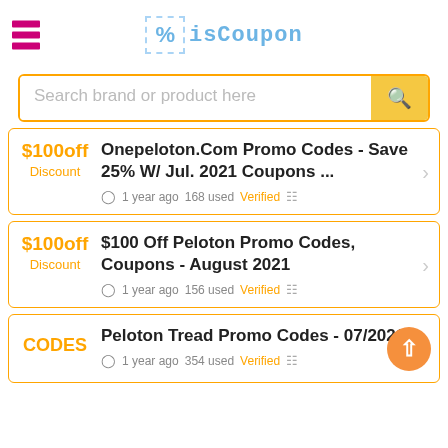isCoupon
Search brand or product here
$100off Discount | Onepeloton.Com Promo Codes - Save 25% W/ Jul. 2021 Coupons ... | 1 year ago 168 used Verified
$100off Discount | $100 Off Peloton Promo Codes, Coupons - August 2021 | 1 year ago 156 used Verified
CODES | Peloton Tread Promo Codes - 07/2021 | 1 year ago 354 used Verified